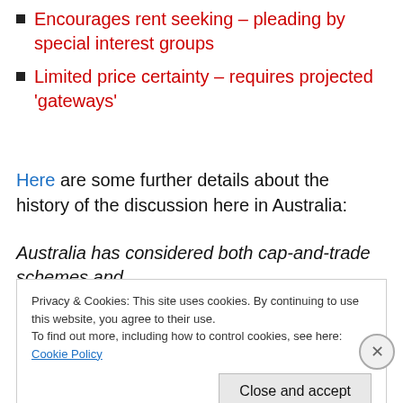Encourages rent seeking – pleading by special interest groups
Limited price certainty – requires projected 'gateways'
Here are some further details about the history of the discussion here in Australia:
Australia has considered both cap-and-trade schemes and
Privacy & Cookies: This site uses cookies. By continuing to use this website, you agree to their use.
To find out more, including how to control cookies, see here: Cookie Policy